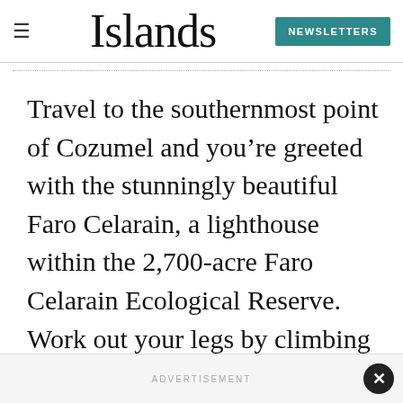Islands  NEWSLETTERS
Travel to the southernmost point of Cozumel and you’re greeted with the stunningly beautiful Faro Celarain, a lighthouse within the 2,700-acre Faro Celarain Ecological Reserve. Work out your legs by climbing to the top: your reward is the 360-degree view.
ADVERTISEMENT